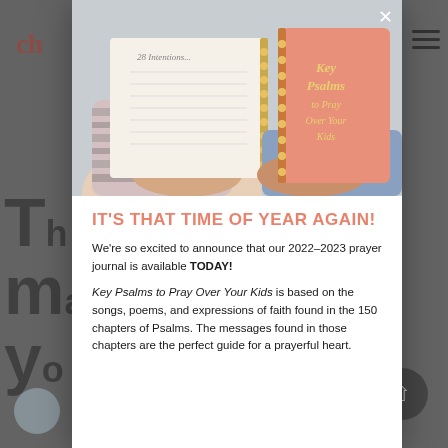[Figure (photo): Modal popup showing two hands holding spiral-bound journals/prayer books against a grey background. One open white journal and one closed pink journal with gold text reading 'Key Psalms to Pray Over Your Kids'.]
IT'S THAT TIME OF YEAR AGAIN!
We're so excited to announce that our 2022–2023 prayer journal is available TODAY!
Key Psalms to Pray Over Your Kids is based on the songs, poems, and expressions of faith found in the 150 chapters of Psalms. The messages found in those chapters are the perfect guide for a prayerful heart.